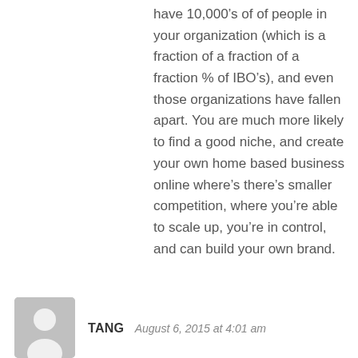have 10,000’s of of people in your organization (which is a fraction of a fraction of a fraction % of IBO’s), and even those organizations have fallen apart. You are much more likely to find a good niche, and create your own home based business online where’s there’s smaller competition, where you’re able to scale up, you’re in control, and can build your own brand.
Reply
TANG   August 6, 2015 at 4:01 am